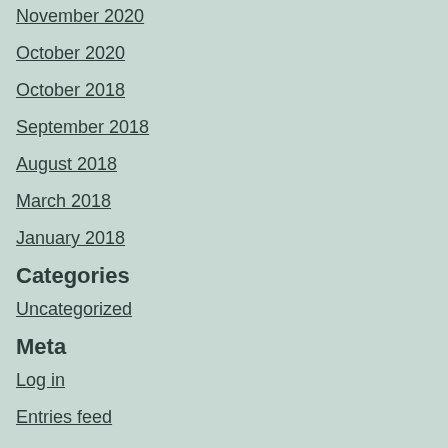November 2020
October 2020
October 2018
September 2018
August 2018
March 2018
January 2018
Categories
Uncategorized
Meta
Log in
Entries feed